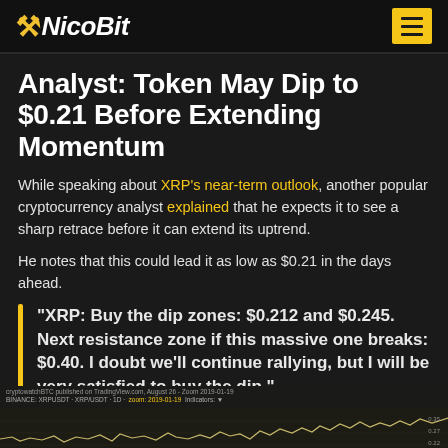NicoBit
Analyst: Token May Dip to $0.21 Before Extending Momentum
While speaking about XRP's near-term outlook, another popular cryptocurrency analyst explained that he expects it to see a sharp retrace before it can extend its uptrend.
He notes that this could lead it as low as $0.21 in the days ahead.
“XRP: Buy the dip zones: $0.212 and $0.245. Next resistance zone if this massive one breaks: $0.40. I doubt we’ll continue rallying, but I will be very satisfied to buy the dip.”
[Figure (continuous-plot): XRP price chart from TradingView showing a line chart with candlestick or OHLC data, with a wavy price line moving across the chart]